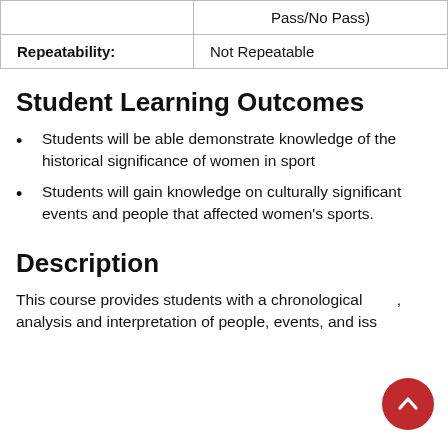|  |  |
| --- | --- |
|  | Pass/No Pass) |
| Repeatability: | Not Repeatable |
Student Learning Outcomes
Students will be able demonstrate knowledge of the historical significance of women in sport
Students will gain knowledge on culturally significant events and people that affected women's sports.
Description
This course provides students with a chronological survey, analysis and interpretation of people, events, and iss...